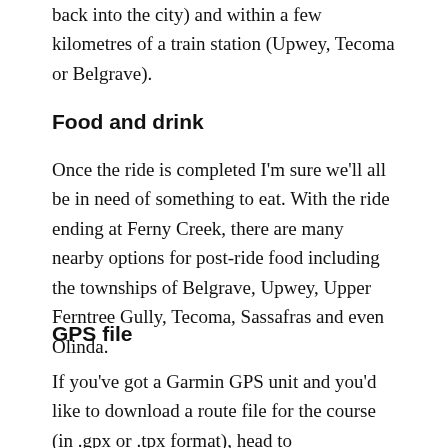back into the city) and within a few kilometres of a train station (Upwey, Tecoma or Belgrave).
Food and drink
Once the ride is completed I'm sure we'll all be in need of something to eat. With the ride ending at Ferny Creek, there are many nearby options for post-ride food including the townships of Belgrave, Upwey, Upper Ferntree Gully, Tecoma, Sassafras and even Olinda.
GPS file
If you've got a Garmin GPS unit and you'd like to download a route file for the course (in .gpx or .tpx format), head to RidewithGPS, click Export and download the appropriate file.